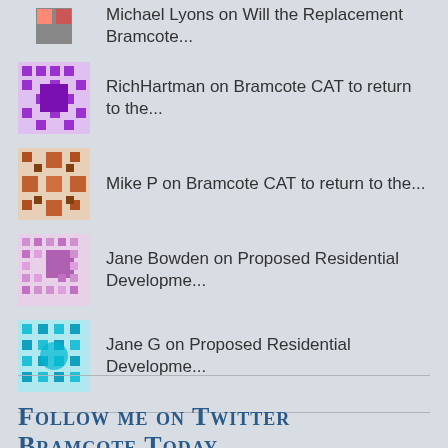Michael Lyons on Will the Replacement Bramcote...
RichHartman on Bramcote CAT to return to the...
Mike P on Bramcote CAT to return to the...
Jane Bowden on Proposed Residential Developme...
Jane G on Proposed Residential Developme...
Bramcote Today
Follow me on Twitter